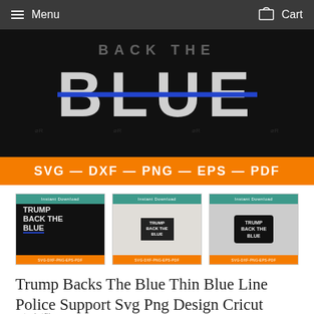Menu  Cart
[Figure (illustration): Dark background product image showing 'BACK THE BLUE' text in large white letters with a blue horizontal stripe through 'BLUE', and an orange bar at the bottom reading 'SVG — DXF — PNG — EPS — PDF']
[Figure (photo): Three thumbnail images showing product variations: 1) Black background with TRUMP BACK THE BLUE text and blue underline, 2) T-shirt mockup with the design, 3) Black mug with TRUMP BACK THE BLUE text]
Trump Backs The Blue Thin Blue Line Police Support Svg Png Design Cricut Cutting File
artprintfile.com